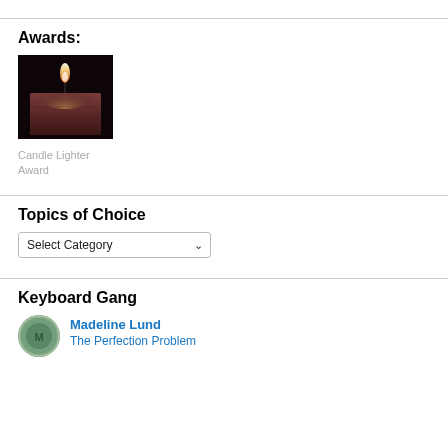Awards:
[Figure (photo): A lit candle with a dark background showing a square brownish-red candle with a bright flame]
Candle Lighter Award
Topics of Choice
Select Category (dropdown)
Keyboard Gang
Madeline Lund
The Perfection Problem